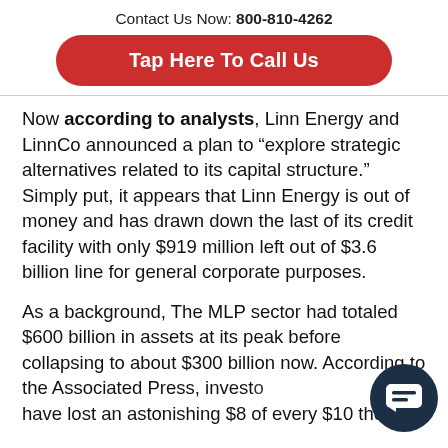Contact Us Now: 800-810-4262
Tap Here To Call Us
Now according to analysts, Linn Energy and LinnCo announced a plan to “explore strategic alternatives related to its capital structure.” Simply put, it appears that Linn Energy is out of money and has drawn down the last of its credit facility with only $919 million left out of $3.6 billion line for general corporate purposes.
As a background, The MLP sector had totaled $600 billion in assets at its peak before collapsing to about $300 billion now. According to the Associated Press, investors have lost an astonishing $8 of every $10 they